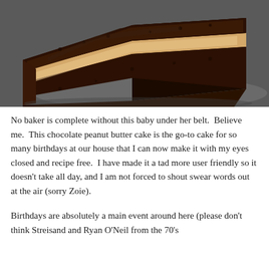[Figure (photo): A close-up photograph of a slice of chocolate peanut butter cake with a thick layer of cream filling between two layers of moist dark chocolate cake, all covered with a smooth chocolate ganache exterior, served on what appears to a glass plate against a gray background.]
No baker is complete without this baby under her belt.  Believe me.  This chocolate peanut butter cake is the go-to cake for so many birthdays at our house that I can now make it with my eyes closed and recipe free.  I have made it a tad more user friendly so it doesn't take all day, and I am not forced to shout swear words out at the air (sorry Zoie).
Birthdays are absolutely a main event around here (please don't think Streisand and Ryan O'Neil from the 70's